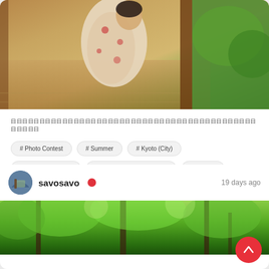[Figure (photo): Person wearing a floral kimono sitting in a traditional Japanese room with tatami mats and wooden sliding door open to green garden]
日日日日日日日日日日日日日日日日日日日日日日日日日日日日日日日日日日日日日日日日日日日日日日日日
# Photo Contest
# Summer
# Kyoto (City)
# Traditional culture
# Japanese heart/Wabisabi
# Kimono
# Life in Japan
8 likes, 2 comments
savosavo • 19 days ago
[Figure (photo): Lush green forest/garden scene with trees and bright sunlight filtering through leaves]